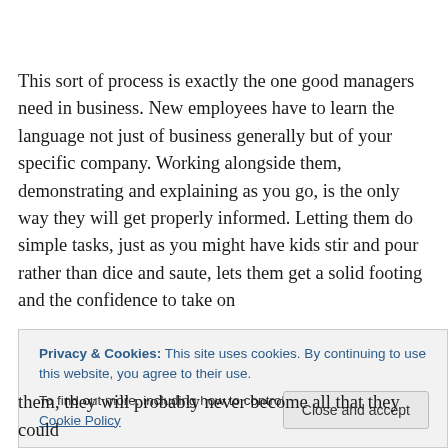This sort of process is exactly the one good managers need in business. New employees have to learn the language not just of business generally but of your specific company. Working alongside them, demonstrating and explaining as you go, is the only way they will get properly informed. Letting them do simple tasks, just as you might have kids stir and pour rather than dice and saute, lets them get a solid footing and the confidence to take on
Privacy & Cookies: This site uses cookies. By continuing to use this website, you agree to their use.
To find out more, including how to control cookies, see here: Cookie Policy
them, they will probably never become all that they could